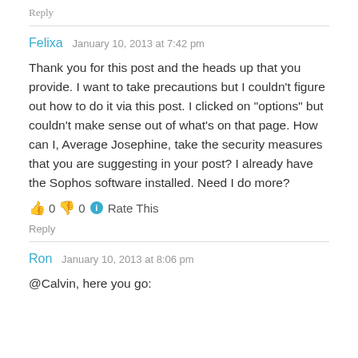Reply
Felixa  January 10, 2013 at 7:42 pm
Thank you for this post and the heads up that you provide. I want to take precautions but I couldn't figure out how to do it via this post. I clicked on "options" but couldn't make sense out of what's on that page. How can I, Average Josephine, take the security measures that you are suggesting in your post? I already have the Sophos software installed. Need I do more?
👍 0 👎 0 ℹ Rate This
Reply
Ron  January 10, 2013 at 8:06 pm
@Calvin, here you go: